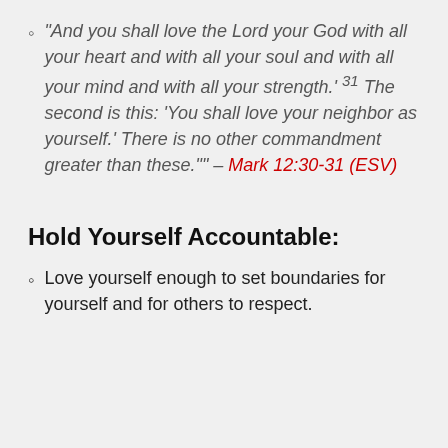“And you shall love the Lord your God with all your heart and with all your soul and with all your mind and with all your strength.’ 31 The second is this: ‘You shall love your neighbor as yourself.’ There is no other commandment greater than these.”” – Mark 12:30-31 (ESV)
Hold Yourself Accountable:
Love yourself enough to set boundaries for yourself and for others to respect.